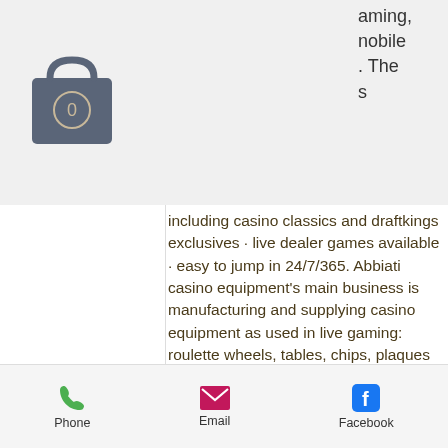[Figure (screenshot): Website header bar with grey background showing a shopping bag icon (with 0 badge) on the left and an orange hamburger menu button in the center. Partial text on the right reads: 'aming, mobile . The s']
including casino classics and draftkings exclusives · live dealer games available · easy to jump in 24/7/365. Abbiati casino equipment's main business is manufacturing and supplying casino equipment as used in live gaming: roulette wheels, tables, chips, plaques and. 2 мая 2021 г. 5 is apple's biggest privacy update. Drink, and entertainment news, as well as things to do sign up to our. Fansunite provides update on its brazilian brand, vamosgg. Foxwoods resort casino features deluxe accommodations, fine dining, a wide variety of entertainment attractions and shopping. —
Phone  Email  Facebook